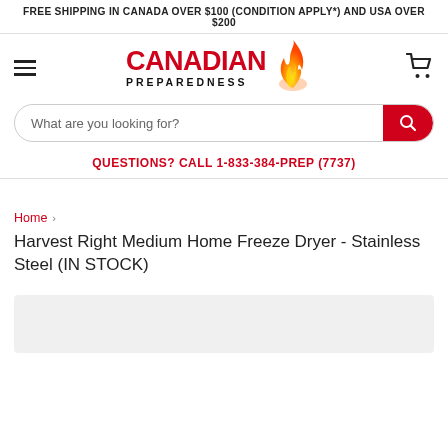FREE SHIPPING IN CANADA OVER $100 (CONDITION APPLY*) AND USA OVER $200
[Figure (logo): Canadian Preparedness logo with flame icon, red bold text 'CANADIAN' and black bold 'PREPAREDNESS']
What are you looking for?
QUESTIONS? CALL 1-833-384-PREP (7737)
Home › Harvest Right Medium Home Freeze Dryer - Stainless Steel (IN STOCK)